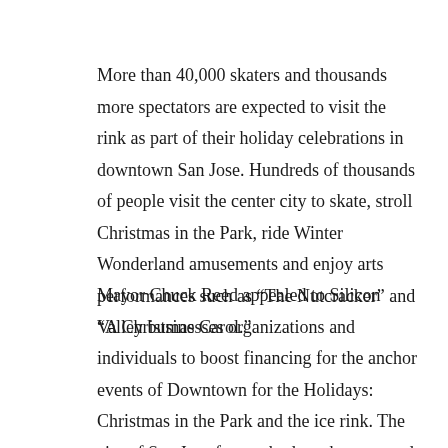More than 40,000 skaters and thousands more spectators are expected to visit the rink as part of their holiday celebrations in downtown San Jose. Hundreds of thousands of people visit the center city to skate, stroll Christmas in the Park, ride Winter Wonderland amusements and enjoy arts performances such as “The Nutcracker” and “A Christmas Carol.”
Mayor Chuck Reed appealed to Silicon Valley businesses organizations and individuals to boost financing for the anchor events of Downtown for the Holidays:  Christmas in the Park and the ice rink. The city of San Jose faces a budget shortage and